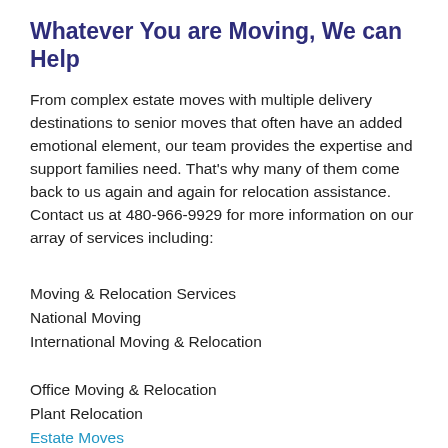Whatever You are Moving, We can Help
From complex estate moves with multiple delivery destinations to senior moves that often have an added emotional element, our team provides the expertise and support families need. That's why many of them come back to us again and again for relocation assistance. Contact us at 480-966-9929 for more information on our array of services including:
Moving & Relocation Services
National Moving
International Moving & Relocation
Office Moving & Relocation
Plant Relocation
Estate Moves